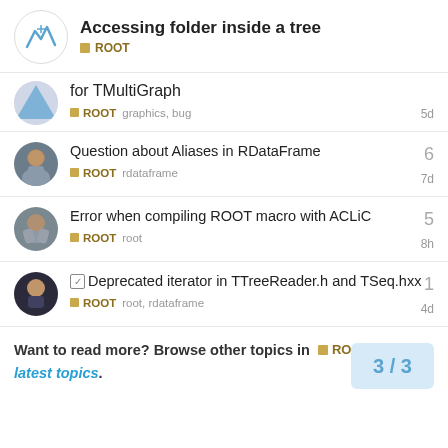Accessing folder inside a tree — ROOT
for TMultiGraph
ROOT  graphics, bug  5d
Question about Aliases in RDataFrame
ROOT  rdataframe  7d  replies: 6
Error when compiling ROOT macro with ACLiC
ROOT  root  8h  replies: 5
Deprecated iterator in TTreeReader.h and TSeq.hxx
ROOT  root, rdataframe  4d  replies: 1
Want to read more? Browse other topics in ROOT or view latest topics.
3 / 3